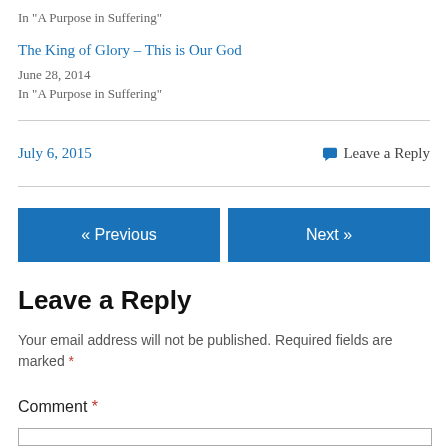In "A Purpose in Suffering"
The King of Glory – This is Our God
June 28, 2014
In "A Purpose in Suffering"
July 6, 2015
💬 Leave a Reply
« Previous
Next »
Leave a Reply
Your email address will not be published. Required fields are marked *
Comment *